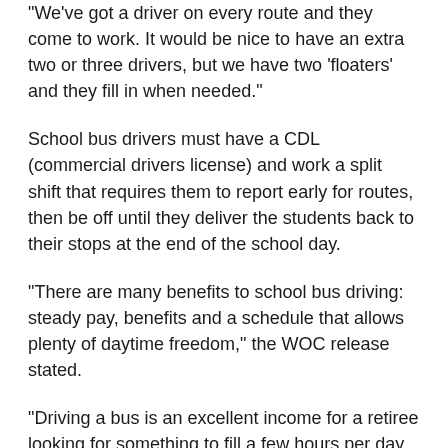"We've got a driver on every route and they come to work. It would be nice to have an extra two or three drivers, but we have two 'floaters' and they fill in when needed."
School bus drivers must have a CDL (commercial drivers license) and work a split shift that requires them to report early for routes, then be off until they deliver the students back to their stops at the end of the school day.
"There are many benefits to school bus driving: steady pay, benefits and a schedule that allows plenty of daytime freedom," the WOC release stated.
"Driving a bus is an excellent income for a retiree looking for something to fill a few hours per day. We encourage retired drivers to come back and help us entice holders of CDLs in other industries to consider driving a school bus a few hours a day."